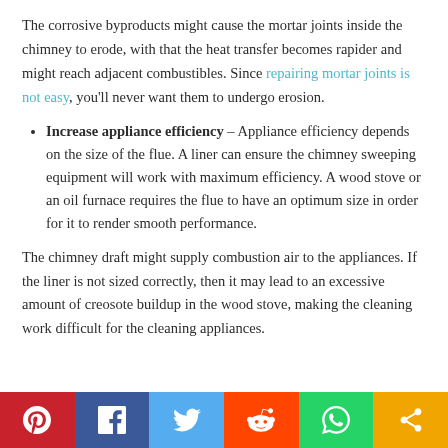The corrosive byproducts might cause the mortar joints inside the chimney to erode, with that the heat transfer becomes rapider and might reach adjacent combustibles. Since repairing mortar joints is not easy, you'll never want them to undergo erosion.
Increase appliance efficiency – Appliance efficiency depends on the size of the flue. A liner can ensure the chimney sweeping equipment will work with maximum efficiency. A wood stove or an oil furnace requires the flue to have an optimum size in order for it to render smooth performance.
The chimney draft might supply combustion air to the appliances. If the liner is not sized correctly, then it may lead to an excessive amount of creosote buildup in the wood stove, making the cleaning work difficult for the cleaning appliances.
[Figure (infographic): Social sharing bar with icons for Pinterest, Facebook, Twitter, Reddit, WhatsApp, and Share]